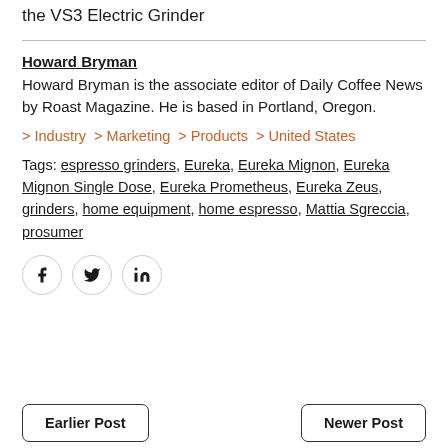the VS3 Electric Grinder
Howard Bryman
Howard Bryman is the associate editor of Daily Coffee News by Roast Magazine. He is based in Portland, Oregon.
> Industry  > Marketing  > Products  > United States
Tags: espresso grinders, Eureka, Eureka Mignon, Eureka Mignon Single Dose, Eureka Prometheus, Eureka Zeus, grinders, home equipment, home espresso, Mattia Sgreccia, prosumer
[Figure (other): Social share buttons: Facebook, Twitter, LinkedIn]
Earlier Post    Newer Post